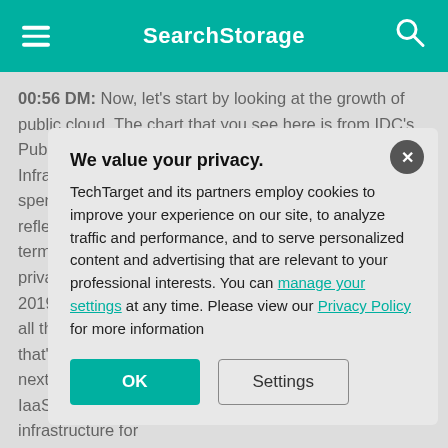SearchStorage
00:56 DM: Now, let's start by looking at the growth of public cloud. The chart that you see here is from IDC's Public Cloud Services Tracker and IDC's Cloud IT Infrastructure Tracker. The dark blue bars reflect the spend on public cloud IaaS and the light blue bars reflect the spend on ... terms of traditional ... private cloud fle... 2019, the spend... all the spend on ... that's expected t... next three years... IaaS to, in fact, e... infrastructure for...
[Figure (screenshot): Privacy consent modal dialog overlaying the page content. Title: 'We value your privacy.' Body text about TechTarget cookies policy with links to 'manage your settings' and 'Privacy Policy'. Two buttons: OK (teal) and Settings (outlined).]
01:44 DM: Now, ... shift in the cont...